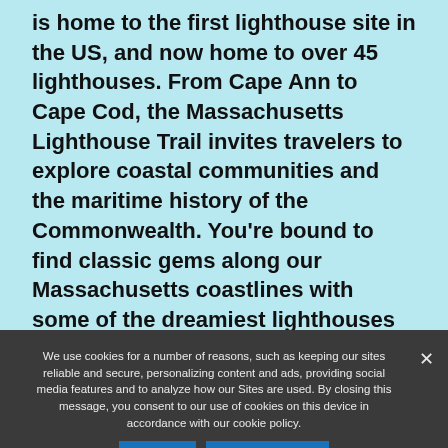is home to the first lighthouse site in the US, and now home to over 45 lighthouses. From Cape Ann to Cape Cod, the Massachusetts Lighthouse Trail invites travelers to explore coastal communities and the maritime history of the Commonwealth. You're bound to find classic gems along our Massachusetts coastlines with some of the dreamiest lighthouses around.
GET YOUR ITINERARY!
We use cookies for a number of reasons, such as keeping our sites reliable and secure, personalizing content and ads, providing social media features and to analyze how our Sites are used. By closing this message, you consent to our use of cookies on this device in accordance with our cookie policy.
Close
Privacy policy